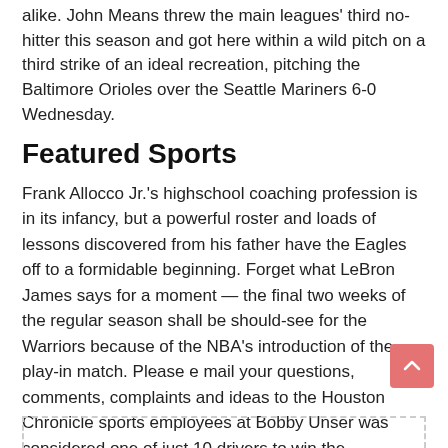alike. John Means threw the main leagues' third no-hitter this season and got here within a wild pitch on a third strike of an ideal recreation, pitching the Baltimore Orioles over the Seattle Mariners 6-0 Wednesday.
Featured Sports
Frank Allocco Jr.'s highschool coaching profession is in its infancy, but a powerful roster and loads of lessons discovered from his father have the Eagles off to a formidable beginning. Forget what LeBron James says for a moment — the final two weeks of the regular season shall be should-see for the Warriors because of the NBA's introduction of the play-in match. Please e mail your questions, comments, complaints and ideas to the Houston Chronicle sports employees at Bobby Unser was considered one of just 10 drivers to win the Indianpolis 500 at least 3 times and Unser and Rick Mears are the one drivers to win the five hundred in three different decades.